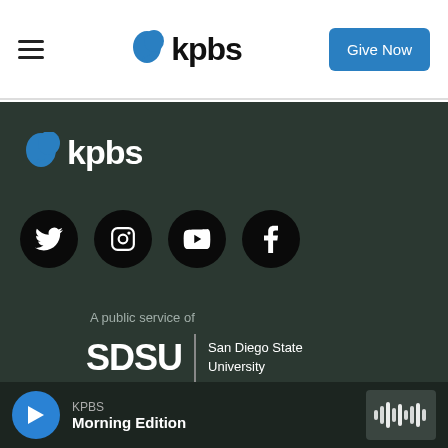KPBS — navigation header with logo, hamburger menu, and Give Now button
[Figure (logo): KPBS logo with blue speech bubble icon and bold black 'kpbs' wordmark in footer dark section]
[Figure (infographic): Four social media icon circles (Twitter, Instagram, YouTube, Facebook) on dark background]
A public service of
[Figure (logo): SDSU | San Diego State University logo in white on dark background]
KPBS Morning Edition — audio player bar with play button and waveform